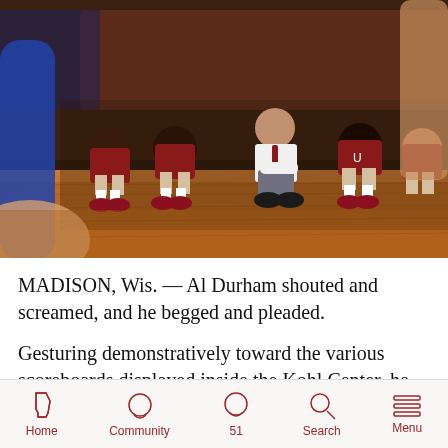[Figure (photo): Basketball coach kneeling on sideline watching play, surrounded by players in red uniforms seated on bench, inside a basketball arena. Foreground shows blurred player legs on wooden court floor.]
MADISON, Wis. — Al Durham shouted and screamed, and he begged and pleaded.
Gesturing demonstratively toward the various scoreboards displayed inside the Kohl Center, he
Home   Community   51   Search   Menu